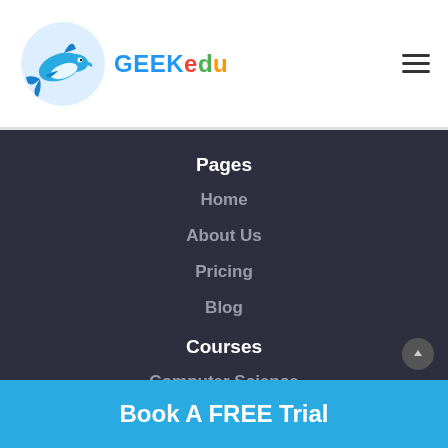[Figure (logo): GEEKedu logo with a blue dolphin icon and colorful brand text]
Pages
Home
About Us
Pricing
Blog
Courses
Computer Science
Mathematics
Locations
Book A FREE Trial